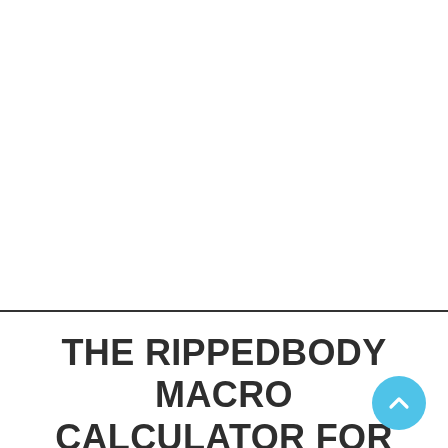THE RIPPEDBODY MACRO CALCULATOR FOR CUTTING, BULKING, AND RECOMP